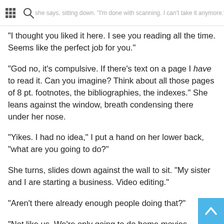... she says, sitting down. "I'm done with scanning. I can't take it anymore."
“I thought you liked it here. I see you reading all the time. Seems like the perfect job for you.”
“God no, it’s compulsive. If there’s text on a page I have to read it. Can you imagine? Think about all those pages of 8 pt. footnotes, the bibliographies, the indexes.” She leans against the window, breath condensing there under her nose.
“Yikes. I had no idea,” I put a hand on her lower back, “what are you going to do?”
She turns, slides down against the wall to sit. “My sister and I are starting a business. Video editing.”
“Aren’t there already enough people doing that?”
“Not like us. We’re only going to do home movies, tourist’s vacations, that kind of thing.”